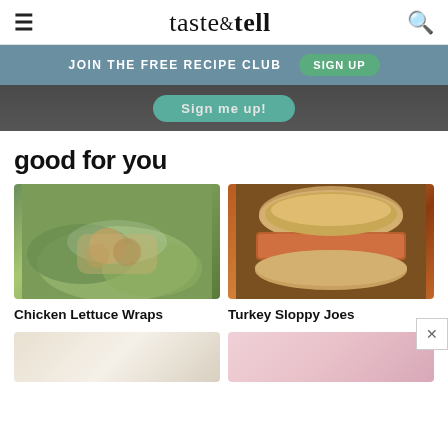taste & tell
JOIN THE FREE RECIPE CLUB  SIGN UP
[Figure (photo): Banner with sign me up button on dark background]
good for you
[Figure (photo): Chicken lettuce wraps on a white plate with sauce]
Chicken Lettuce Wraps
[Figure (photo): Turkey sloppy joe sandwich on a sesame bun on a plate]
Turkey Sloppy Joes
[Figure (photo): Partial view of light colored recipe image]
[Figure (photo): Partial view of pink/light colored recipe image]